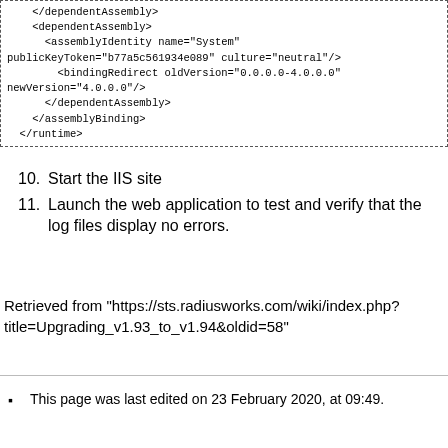[Figure (screenshot): Code block with XML configuration snippet showing dependentAssembly, assemblyIdentity, bindingRedirect, and closing tags, bordered by a dashed rectangle.]
10. Start the IIS site
11. Launch the web application to test and verify that the log files display no errors.
Retrieved from "https://sts.radiusworks.com/wiki/index.php?title=Upgrading_v1.93_to_v1.94&oldid=58"
This page was last edited on 23 February 2020, at 09:49.